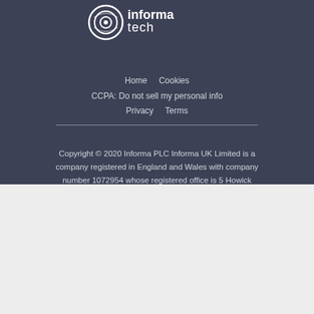[Figure (logo): Informa Tech logo with circular eye/lens icon and text 'informa tech' in white on dark background]
Home   Cookies
CCPA: Do not sell my personal info
Privacy   Terms
Copyright © 2020 Informa PLC Informa UK Limited is a company registered in England and Wales with company number 1072954 whose registered office is 5 Howick Place, London, SW1P 1WG.
This site uses cookies to provide you with the best user experience possible. By using InformationWeek, you accept our use of cookies.